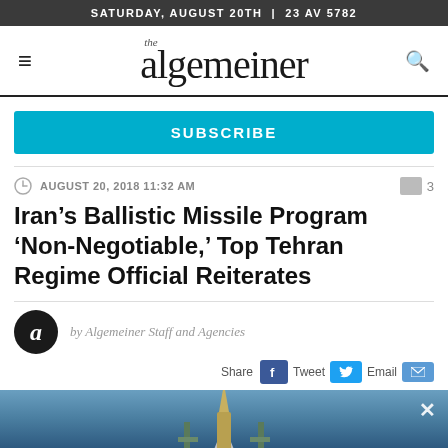SATURDAY, AUGUST 20TH  |  23 AV 5782
the algemeiner
SUBSCRIBE
AUGUST 20, 2018 11:32 AM
3
Iran’s Ballistic Missile Program ‘Non-Negotiable,’ Top Tehran Regime Official Reiterates
by Algemeiner Staff and Agencies
Share  Tweet  Email
[Figure (photo): Photograph of a ballistic missile against a blue sky background, partially cropped at the bottom of the page.]